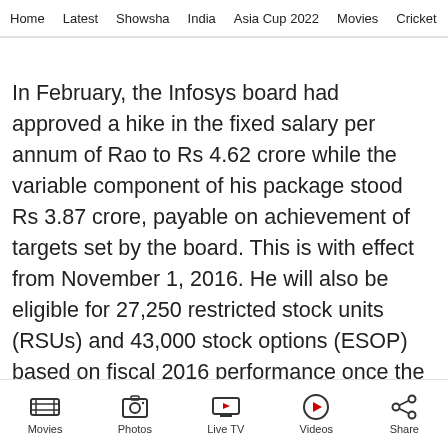Home  Latest  Showsha  India  Asia Cup 2022  Movies  Cricket
In February, the Infosys board had approved a hike in the fixed salary per annum of Rao to Rs 4.62 crore while the variable component of his package stood Rs 3.87 crore, payable on achievement of targets set by the board. This is with effect from November 1, 2016. He will also be eligible for 27,250 restricted stock units (RSUs) and 43,000 stock options (ESOP) based on fiscal 2016 performance once the same is approved by the shareholders.
Movies  Photos  Live TV  Videos  Share